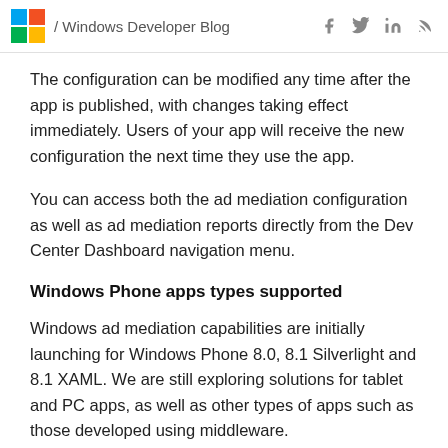/ Windows Developer Blog
The configuration can be modified any time after the app is published, with changes taking effect immediately. Users of your app will receive the new configuration the next time they use the app.
You can access both the ad mediation configuration as well as ad mediation reports directly from the Dev Center Dashboard navigation menu.
Windows Phone apps types supported
Windows ad mediation capabilities are initially launching for Windows Phone 8.0, 8.1 Silverlight and 8.1 XAML. We are still exploring solutions for tablet and PC apps, as well as other types of apps such as those developed using middleware.